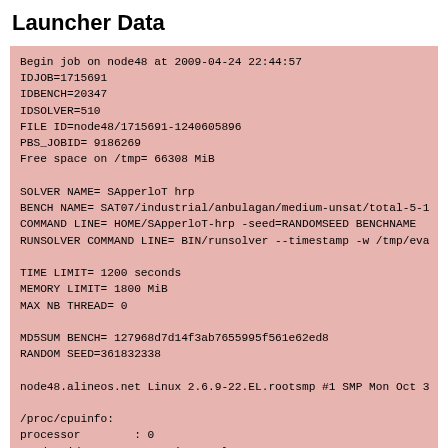Launcher Data
Begin job on node48 at 2009-04-24 22:44:57
IDJOB=1715691
IDBENCH=20347
IDSOLVER=510
FILE ID=node48/1715691-1240605896
PBS_JOBID= 9186269
Free space on /tmp= 66308 MiB

SOLVER NAME= SApperloT hrp
BENCH NAME= SAT07/industrial/anbulagan/medium-unsat/total-5-1
COMMAND LINE= HOME/SApperloT-hrp -seed=RANDOMSEED BENCHNAME
RUNSOLVER COMMAND LINE= BIN/runsolver --timestamp -w /tmp/eva

TIME LIMIT= 1200 seconds
MEMORY LIMIT= 1800 MiB
MAX NB THREAD= 0

MD5SUM BENCH= 127968d7d14f3ab7655995f561e62ed8
RANDOM SEED=361832338

node48.alineos.net Linux 2.6.9-22.EL.rootsmp #1 SMP Mon Oct 3

/proc/cpuinfo:
processor        : 0
vendor_id        : GenuineIntel
cpu family       : 15
model            : 4
model name       :                    Intel(R) Xeon(TM) CPU 3.0
stepping         : 3